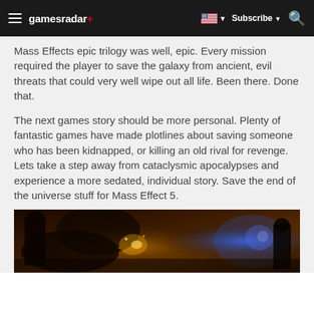gamesradar+ | Subscribe | Search
Mass Effects epic trilogy was well, epic. Every mission required the player to save the galaxy from ancient, evil threats that could very well wipe out all life. Been there. Done that.
The next games story should be more personal. Plenty of fantastic games have made plotlines about saving someone who has been kidnapped, or killing an old rival for revenge. Lets take a step away from cataclysmic apocalypses and experience a more sedated, individual story. Save the end of the universe stuff for Mass Effect 5.
[Figure (photo): A dark, atmospheric screenshot from a video game showing what appears to be a character in combat or dramatic scene with warm lighting and glowing effects.]